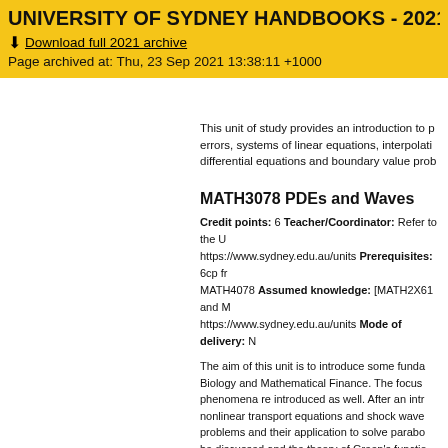UNIVERSITY OF SYDNEY HANDBOOKS - 2021
Download full 2021 archive
Page archived at: Thu, 23 Sep 2021 13:38:11 +1000
This unit of study provides an introduction to p errors, systems of linear equations, interpolati differential equations and boundary value prob
MATH3078 PDEs and Waves
Credit points: 6 Teacher/Coordinator: Refer to the U https://www.sydney.edu.au/units Prerequisites: 6cp fr MATH4078 Assumed knowledge: [MATH2X61 and M https://www.sydney.edu.au/units Mode of delivery: N
The aim of this unit is to introduce some funda Biology and Mathematical Finance. The focus phenomena re introduced as well. After an intr nonlinear transport equations and shock wave problems and their application to solve parabo be discussed and the theory of Green's functio
STAT3021 Stochastic Processes
Credit points: 6 Teacher/Coordinator: Refer to the U https://www.sydney.edu.au/units Prerequisites: STAT or STAT3011 or STAT3921 or STAT4021 Assessmen Faculty: Science